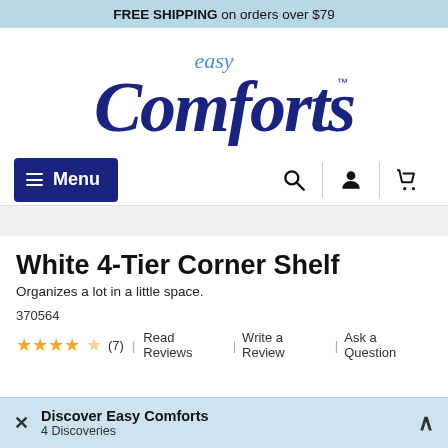FREE SHIPPING on orders over $79
[Figure (logo): Easy Comforts logo - cursive navy blue 'Comforts' with blue 'easy' above, TM mark]
Menu (navigation bar with search, user, and cart icons)
White 4-Tier Corner Shelf
Organizes a lot in a little space.
370564
★★★★☆ (7) Read Reviews | Write a Review | Ask a Question
Discover Easy Comforts — 4 Discoveries